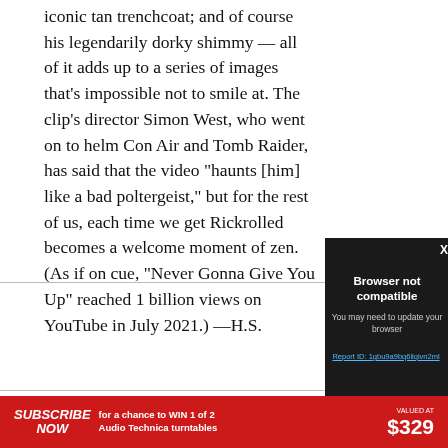iconic tan trenchcoat; and of course his legendarily dorky shimmy — all of it adds up to a series of images that's impossible not to smile at. The clip's director Simon West, who went on to helm Con Air and Tomb Raider, has said that the video "haunts [him] like a bad poltergeist," but for the rest of us, each time we get Rickrolled becomes a welcome moment of zen. (As if on cue, "Never Gonna Give You Up" reached 1 billion views on YouTube in July 2021.) —H.S.
[Figure (screenshot): A dark modal dialog overlay on a webpage reading 'Browser not compatible — You may need to update your browser' with a report ID link, and an X close button. Partially visible video player beneath. Red advertisement banner at bottom: SUBSCRIBE NOW for a chance to WIN 1 of 2 Audio Technica turntables VALUED AT $329.]